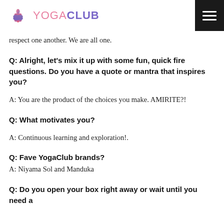YOGACLUB
respect one another. We are all one.
Q: Alright, let’s mix it up with some fun, quick fire questions. Do you have a quote or mantra that inspires you?
A: You are the product of the choices you make. AMIRITE?!
Q: What motivates you?
A: Continuous learning and exploration!.
Q: Fave YogaClub brands?
A: Niyama Sol and Manduka
Q: Do you open your box right away or wait until you need a